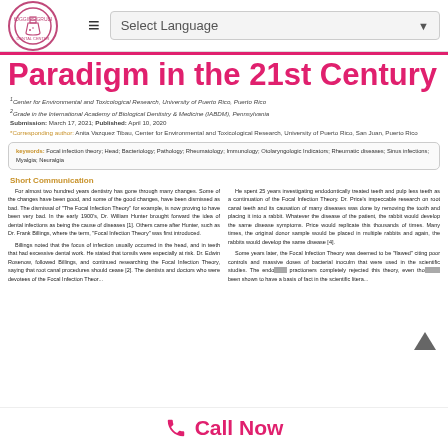Paradigm in the 21st Century
1Center for Environmental and Toxicological Research, University of Puerto Rico, Puerto Rico
2Grade in the International Academy of Biological Dentistry & Medicine (IABDM), Pennsylvania
Submission: March 17, 2021; Published: April 10, 2020
*Corresponding author: Anita Vazquez Tibau, Center for Environmental and Toxicological Research, University of Puerto Rico, San Juan, Puerto Rico
Keywords: Focal infection theory; Head; Bacteriology; Pathology; Rheumatology; Immunology; Otolaryngologic Indicators; Rheumatic diseases; Sinus infections; Myalgia; Neuralgia
Short Communication
For almost two hundred years dentistry has gone through many changes. Some of the changes have been good, and some of the good changes, have been dismissed as bad. The dismissal of "The Focal Infection Theory" for example, is now proving to have been very bad. In the early 1900's, Dr. William Hunter brought forward the idea of dental infections as being the cause of diseases [1]. Others came after Hunter, such as Dr. Frank Billings, where the term, "Focal Infection Theory" was first introduced.

Billings noted that the focus of infection usually occurred in the head, and in teeth that had excessive dental work. He stated that tonsils were especially at risk. Dr. Edwin Rosenow, followed Billings, and continued researching the Focal Infection Theory, saying that root canal procedures should cease [2]. The dentists and doctors who were devotees of the Focal Infection Theory...
He spent 25 years investigating endodontically treated teeth and pulp less teeth as a continuation of the Focal Infection Theory. Dr. Price's impeccable research on root canal teeth and its causation of many diseases was done by removing the tooth and placing it into a rabbit. Whatever the disease of the patient, the rabbit would develop the same disease symptoms. Price would replicate this thousands of times. Many times, the original donor sample would be placed in multiple rabbits and again, the rabbits would develop the same disease [4].

Some years later, the Focal Infection Theory was deemed to be "flawed" citing poor controls and massive doses of bacterial inoculm that were used in the scientific studies. The endodontic practioners completely rejected this theory, even though it has been shown to have a basis of fact in the scientific litera...
Call Now